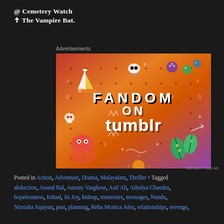@ Cemetery Watch
✟ The Vampire Bat.
Advertisements
[Figure (illustration): Colorful gradient advertisement for 'Fandom on tumblr' featuring cartoon doodles including a sailboat, skull, octopus, leaves, mushrooms, and various symbols on an orange-to-purple gradient background with bold text reading FANDOM ON tumblr]
REPORT THIS AD
Posted in Action, Adventure, Drama, Malayalam, Thriller • Tagged abduction, Anand Bal, Antony Varghese, Asif Ali, Athulya Chandra, hopelessness, Irshad, Jis Joy, kidnap, memories, messages, Nandu, Nimisha Sajayan, past, planning, Reba Monica John, relationships, revenge,